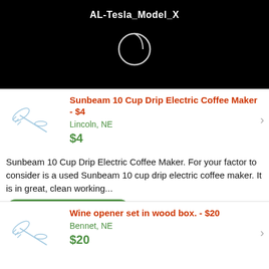AL-Tesla_Model_X
[Figure (illustration): Circular/oval icon on black background]
Sunbeam 10 Cup Drip Electric Coffee Maker - $4
Lincoln, NE
$4
Sunbeam 10 Cup Drip Electric Coffee Maker. For your factor to consider is a used Sunbeam 10 cup drip electric coffee maker. It is in great, clean working...
Garden & House Lincoln
Wine opener set in wood box. - $20
Bennet, NE
$20
This is a box with 6 pieces of a wine set. It has the opener with an extra curl, a pour spout, stopper, and a few other pieces. I do not drink